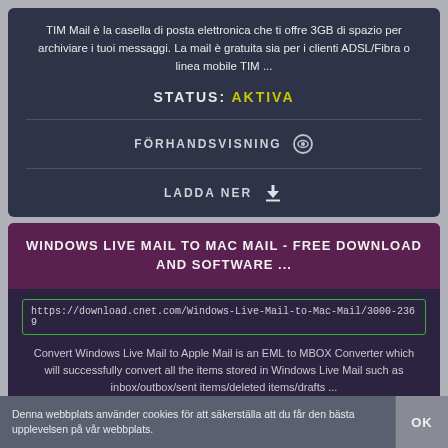TIM Mail è la casella di posta elettronica che ti offre 3GB di spazio per archiviare i tuoi messaggi. La mail è gratuita sia per i clienti ADSL/Fibra o linea mobile TIM ...
STATUS: AKTIVA
FÖRHANDSVISNING
LADDA NER
WINDOWS LIVE MAIL TO MAC MAIL - FREE DOWNLOAD AND SOFTWARE ...
https://download.cnet.com/Windows-Live-Mail-to-Mac-Mail/3000-2369
Convert Windows Live Mail to Apple Mail is an EML to MBOX Converter which will successfully convert all the items stored in Windows Live Mail such as inbox/outbox/sent items/deleted items/drafts ...
Denna webbplats använder cookies för att säkerställa att du får den bästa upplevelsen på vår webbplats.